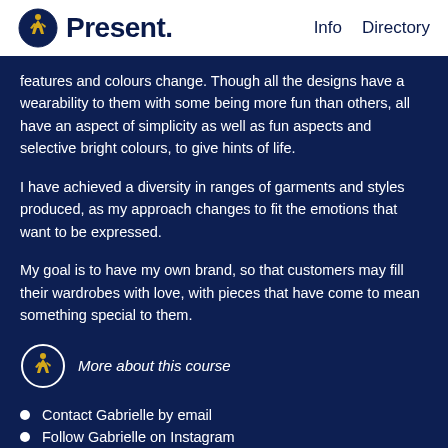Present. Info Directory
features and colours change. Though all the designs have a wearability to them with some being more fun than others, all have an aspect of simplicity as well as fun aspects and selective bright colours, to give hints of life.
I have achieved a diversity in ranges of garments and styles produced, as my approach changes to fit the emotions that want to be expressed.
My goal is to have my own brand, so that customers may fill their wardrobes with love, with pieces that have come to mean something special to them.
[Figure (logo): Present. logo circle icon with italic text 'More about this course']
Contact Gabrielle by email
Follow Gabrielle on Instagram
Connect with Gabrielle via LinkedIn